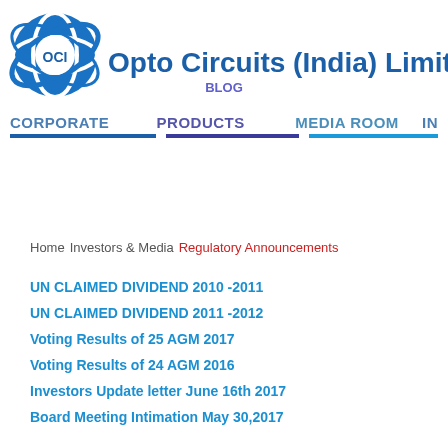[Figure (logo): OCI logo - blue elliptical globe with OCI text inside, alongside company name]
Opto Circuits (India) Limited
BLOG
CORPORATE   PRODUCTS   MEDIA ROOM   IN
Home  Investors & Media  Regulatory Announcements
UN CLAIMED DIVIDEND 2010 -2011
UN CLAIMED DIVIDEND 2011 -2012
Voting Results of 25 AGM 2017
Voting Results of 24 AGM 2016
Investors Update letter June 16th 2017
Board Meeting Intimation May 30,2017